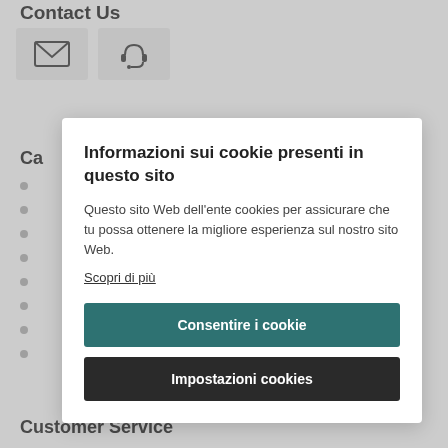Contact Us
[Figure (infographic): Two icon buttons: an envelope/mail icon and a headset/phone support icon, both on light gray backgrounds]
Ca
•
•
•
•
•
•
•
•
Informazioni sui cookie presenti in questo sito
Questo sito Web dell'ente cookies per assicurare che tu possa ottenere la migliore esperienza sul nostro sito Web.
Scopri di più
Consentire i cookie
Impostazioni cookies
Customer Service